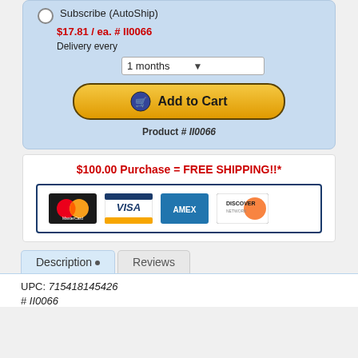Subscribe (AutoShip)
$17.81 / ea. # II0066
Delivery every
1 months
Add to Cart
Product # II0066
$100.00 Purchase = FREE SHIPPING!!*
[Figure (logo): Payment method logos: MasterCard, Visa, American Express, Discover]
Description • Reviews
UPC: 715418145426
# II0066